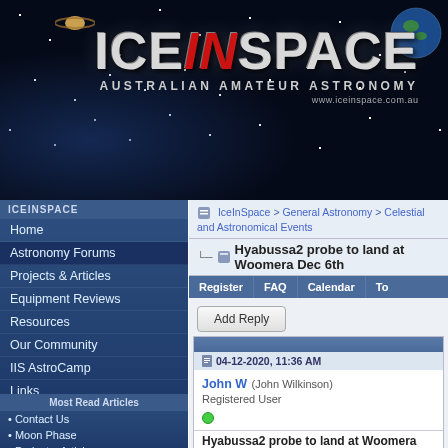[Figure (logo): IceInSpace Australian Amateur Astronomy website header with logo on starfield background with planets]
ICEINSPACE
Home
Astronomy Forums
Projects & Articles
Equipment Reviews
Resources
Our Community
IIS AstroCamp
Links
Images
About IceInSpace
IceInSpace Shop
Contact Us
Search
Most Read Articles
• Contact Us
• Moon Phase
• Projects, Articles,...
IceInSpace > General Astronomy > Celestial and Astronomical Events
Hyabussa2 probe to land at Woomera Dec 6th
Register   FAQ   Calendar   To...
Add Reply
04-12-2020, 11:36 AM
John W (John Wilkinson)
Registered User
Hyabussa2 probe to land at Woomera Dec 6th
Japanese Space probe has landed at Woo...
A capsule containing rocks from an asteroid ha...
Sunday December 6, 2020. This event will ma...
Hayabusa2 spacecraft. Hayabusa2 was laun...